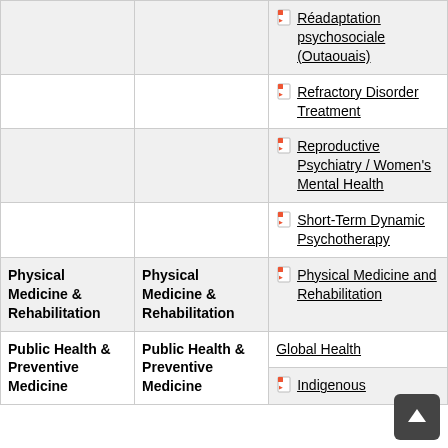| Category | Specialty | Program |
| --- | --- | --- |
|  |  | Réadaptation psychosociale (Outaouais) |
|  |  | Refractory Disorder Treatment |
|  |  | Reproductive Psychiatry / Women's Mental Health |
|  |  | Short-Term Dynamic Psychotherapy |
| Physical Medicine & Rehabilitation | Physical Medicine & Rehabilitation | Physical Medicine and Rehabilitation |
| Public Health & Preventive Medicine | Public Health & Preventive Medicine | Global Health |
|  |  | Indigenous |